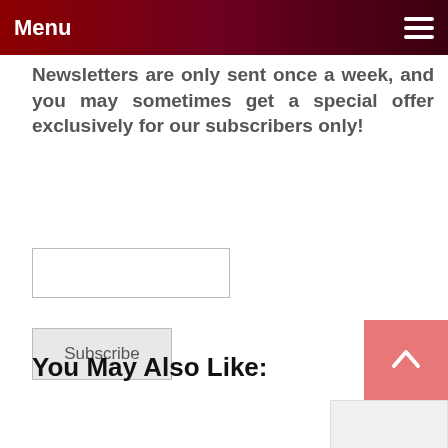Menu
Newsletters are only sent once a week, and you may sometimes get a special offer exclusively for our subscribers only!
[Figure (other): Email input text field (empty)]
[Figure (other): Subscribe button]
[Figure (other): Scroll to top button with upward arrow, salmon/pink color]
You May Also Like:
[Figure (other): Article card placeholder (partially visible, light gray background)]